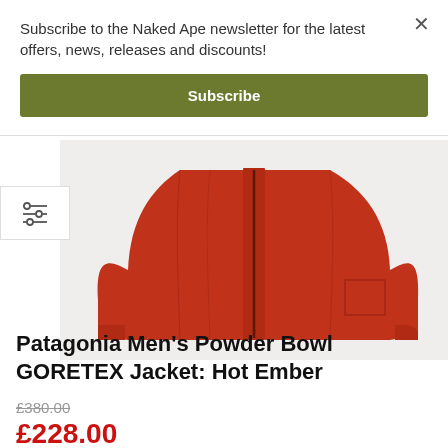Subscribe to the Naked Ape newsletter for the latest offers, news, releases and discounts!
Subscribe
[Figure (photo): Red Patagonia Men's Powder Bowl GORETEX Jacket hanging, showing front zipper and sleeves, on white background]
Patagonia Men's Powder Bowl GORETEX Jacket: Hot Ember
£380.00
£228.00